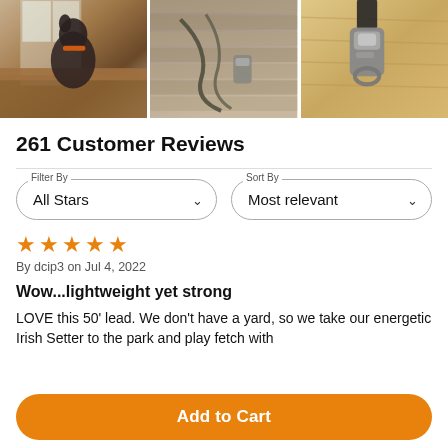[Figure (photo): Three product/lifestyle photos: dog on couch, frayed rope/leash on deck, metal clip on wood surface]
261 Customer Reviews
Filter By: All Stars | Sort By: Most relevant
★★★★★
By dcip3 on Jul 4, 2022
Wow...lightweight yet strong
LOVE this 50' lead. We don't have a yard, so we take our energetic Irish Setter to the park and play fetch with
Add to Cart